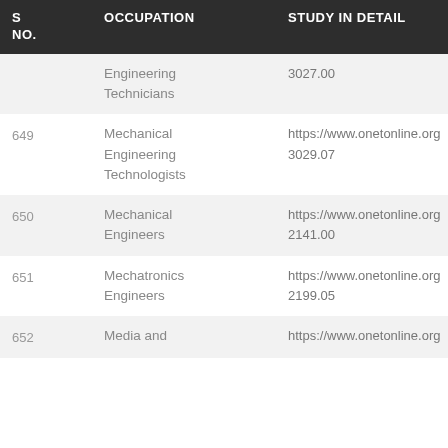| S NO. | OCCUPATION | STUDY IN DETAIL |
| --- | --- | --- |
|  | Engineering Technicians | 3027.00 |
| 649 | Mechanical Engineering Technologists | https://www.onetonline.org
3029.07 |
| 650 | Mechanical Engineers | https://www.onetonline.org
2141.00 |
| 651 | Mechatronics Engineers | https://www.onetonline.org
2199.05 |
| 652 | Media and | https://www.onetonline.org |